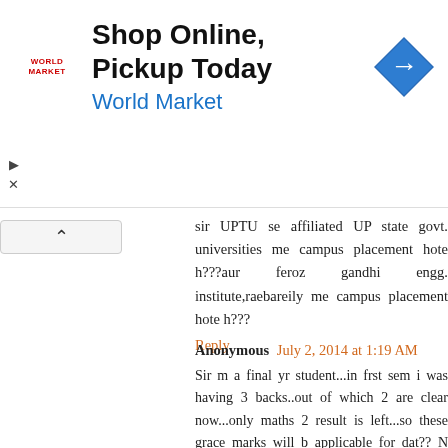[Figure (other): Advertisement banner: 'Shop Online, Pickup Today' for World Market with a blue navigation arrow icon and World Market logo]
sir UPTU se affiliated UP state govt. universities me campus placement hote h???aur feroz gandhi engg. institute,raebareily me campus placement hote h???
Reply
Anonymous July 2, 2014 at 1:19 AM
Sir m a final yr student...in frst sem i was having 3 backs..out of which 2 are clear now...only maths 2 result is left...so these grace marks will b applicable for dat?? N den degree mein mentioned hoga pass with grace ya smthng?
Reply